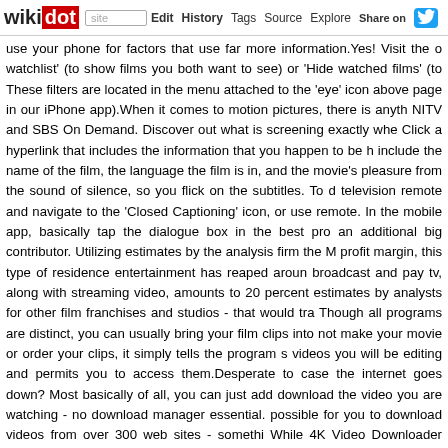wikidot | site Edit History Tags Source Explore Share on
use your phone for factors that use far more information.Yes! Visit the o watchlist' (to show films you both want to see) or 'Hide watched films' (to These filters are located in the menu attached to the 'eye' icon above page in our iPhone app).When it comes to motion pictures, there is anyth NITV and SBS On Demand. Discover out what is screening exactly whe Click a hyperlink that includes the information that you happen to be h include the name of the film, the language the film is in, and the movie's pleasure from the sound of silence, so you flick on the subtitles. To d television remote and navigate to the 'Closed Captioning' icon, or use remote. In the mobile app, basically tap the dialogue box in the best pro an additional big contributor. Utilizing estimates by the analysis firm the M profit margin, this type of residence entertainment has reaped aroun broadcast and pay tv, along with streaming video, amounts to 20 percent estimates by analysts for other film franchises and studios - that would tra Though all programs are distinct, you can usually bring your film clips into not make your movie or order your clips, it simply tells the program s videos you will be editing and permits you to access them.Desperate to case the internet goes down? Most basically of all, you can just add download the video you are watching - no download manager essential. possible for you to download videos from over 300 web sites - somethi While 4K Video Downloader does exactly what it says on the tin: en harddrive-filling) video files.One more handy function of the HD Box ad (the default), thumbnail view (where each and every movie is represente wrap view (which shows a quick-scroll carousel of posters). This is va videos and swiftly discover the one you want. To bring up thumbnail keyboard) and modify View: List to View: Thumbnails or View: Poster ascending or descending, and add other filters to search by way of distribution. How are you going to advertise the reside streaming of the